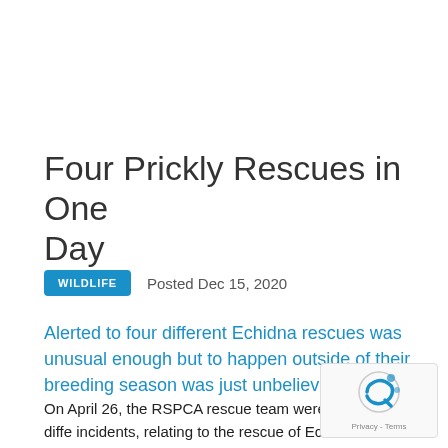Four Prickly Rescues in One Day
WILDLIFE   Posted Dec 15, 2020
Alerted to four different Echidna rescues was unusual enough but to happen outside of their breeding season was just unbelievable.
On April 26, the RSPCA rescue team were alerted to 4 diffe incidents, relating to the rescue of Echidnas. Whilst 4 in on unusual enough, these incidents are normally seasonal and occur